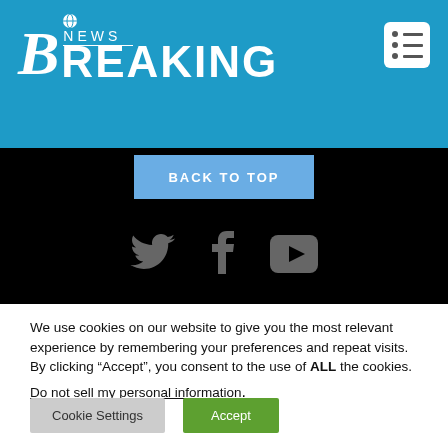Breaking News
[Figure (logo): Breaking News logo with globe icon on blue header bar]
[Figure (infographic): Back to Top button on black background]
[Figure (infographic): Social media icons: Twitter bird, Facebook f, YouTube play button on black background]
We use cookies on our website to give you the most relevant experience by remembering your preferences and repeat visits. By clicking “Accept”, you consent to the use of ALL the cookies.
Do not sell my personal information.
Cookie Settings  Accept